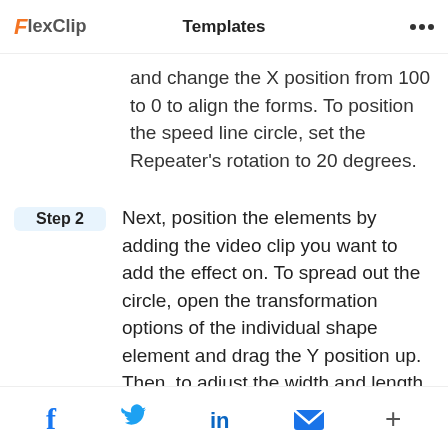FlexClip  Templates  • • •
and change the X position from 100 to 0 to align the forms. To position the speed line circle, set the Repeater's rotation to 20 degrees.
Step 2  Next, position the elements by adding the video clip you want to add the effect on. To spread out the circle, open the transformation options of the individual shape element and drag the Y position up. Then, to adjust the width and length of the lines, change the X
f  Twitter  in  Email  +